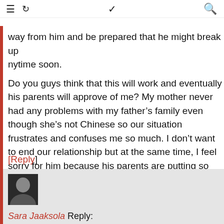≡  ↺  ∨  🔍
way from him and be prepared that he might break up anytime soon.

Do you guys think that this will work and eventually his parents will approve of me? My mother never had any problems with my father's family even though she's not Chinese so our situation frustrates and confuses me so much. I don't want to end our relationship but at the same time, I feel sorry for him because his parents are putting so much pressure on him. I need some advice. Thank you.
[Reply]
Sara Jaaksola Reply:
July 24th, 2014 at 10:04 pm